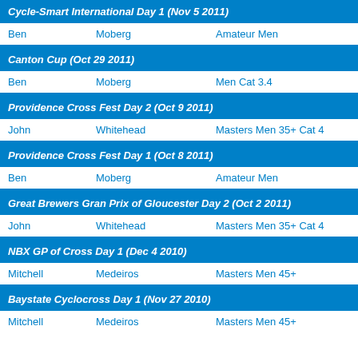Cycle-Smart International Day 1 (Nov 5 2011)
Ben    Moberg    Amateur Men
Canton Cup (Oct 29 2011)
Ben    Moberg    Men Cat 3.4
Providence Cross Fest Day 2 (Oct 9 2011)
John    Whitehead    Masters Men 35+ Cat 4
Providence Cross Fest Day 1 (Oct 8 2011)
Ben    Moberg    Amateur Men
Great Brewers Gran Prix of Gloucester Day 2 (Oct 2 2011)
John    Whitehead    Masters Men 35+ Cat 4
NBX GP of Cross Day 1 (Dec 4 2010)
Mitchell    Medeiros    Masters Men 45+
Baystate Cyclocross Day 1 (Nov 27 2010)
Mitchell    Medeiros    Masters Men 45+